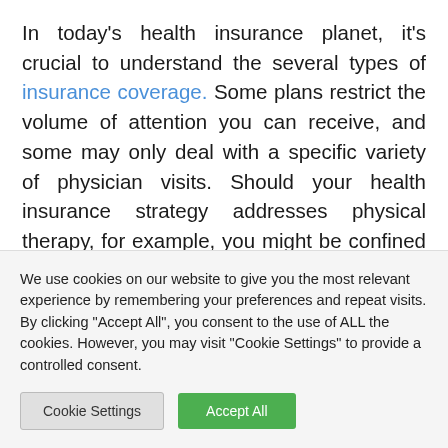In today's health insurance planet, it's crucial to understand the several types of insurance coverage. Some plans restrict the volume of attention you can receive, and some may only deal with a specific variety of physician visits. Should your health insurance strategy addresses physical therapy, for example, you might be confined to seeing a specific number of suppliers every year. They are not able to put a money restriction on what your insurance policy will cover essential health benefits, although some
We use cookies on our website to give you the most relevant experience by remembering your preferences and repeat visits. By clicking "Accept All", you consent to the use of ALL the cookies. However, you may visit "Cookie Settings" to provide a controlled consent.